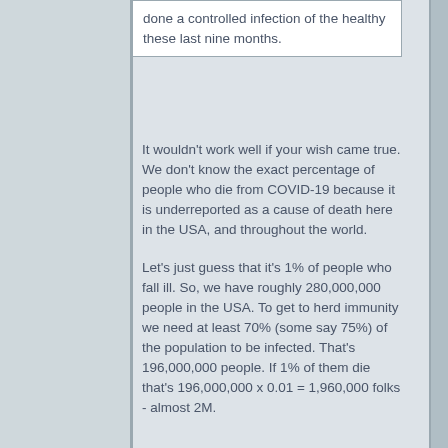done a controlled infection of the healthy these last nine months.
It wouldn't work well if your wish came true. We don't know the exact percentage of people who die from COVID-19 because it is underreported as a cause of death here in the USA, and throughout the world.
Let's just guess that it's 1% of people who fall ill. So, we have roughly 280,000,000 people in the USA. To get to herd immunity we need at least 70% (some say 75%) of the population to be infected. That's 196,000,000 people. If 1% of them die that's 196,000,000 x 0.01 = 1,960,000 folks - almost 2M.